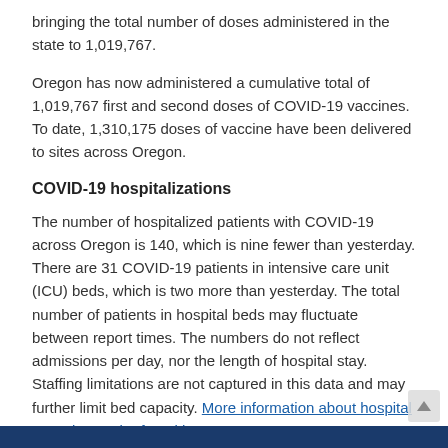bringing the total number of doses administered in the state to 1,019,767.
Oregon has now administered a cumulative total of 1,019,767 first and second doses of COVID-19 vaccines. To date, 1,310,175 doses of vaccine have been delivered to sites across Oregon.
COVID-19 hospitalizations
The number of hospitalized patients with COVID-19 across Oregon is 140, which is nine fewer than yesterday. There are 31 COVID-19 patients in intensive care unit (ICU) beds, which is two more than yesterday. The total number of patients in hospital beds may fluctuate between report times. The numbers do not reflect admissions per day, nor the length of hospital stay. Staffing limitations are not captured in this data and may further limit bed capacity. More information about hospital capacity can be found here.